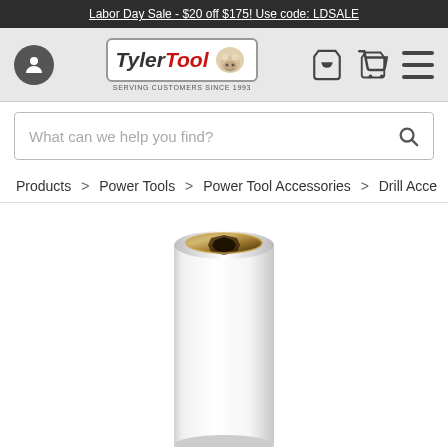Labor Day Sale - $20 off $175! Use code: LDSALE
[Figure (logo): Tyler Tool logo with bulldog mascot]
What can we help you find?
Products > Power Tools > Power Tool Accessories > Drill Acce
[Figure (photo): White cylindrical socket with gold/brass hex interior opening, viewed from a slight angle above]